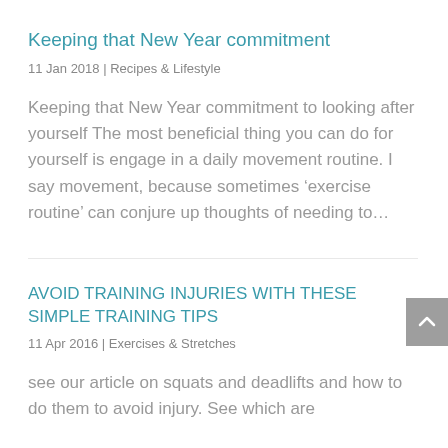Keeping that New Year commitment
11 Jan 2018  |  Recipes & Lifestyle
Keeping that New Year commitment to looking after yourself The most beneficial thing you can do for yourself is engage in a daily movement routine. I say movement, because sometimes ‘exercise routine’ can conjure up thoughts of needing to…
AVOID TRAINING INJURIES WITH THESE SIMPLE TRAINING TIPS
11 Apr 2016  |  Exercises & Stretches
see our article on squats and deadlifts and how to do them to avoid injury. See which are